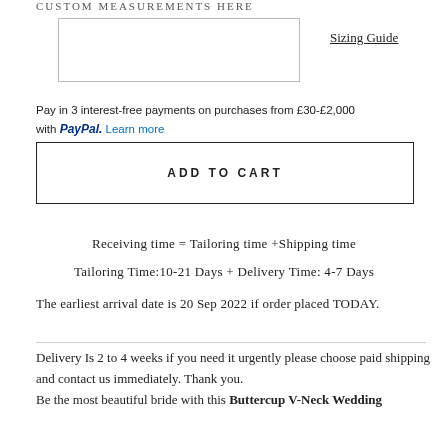CUSTOM MEASUREMENTS HERE
[Figure (other): Empty text input box for custom measurements]
Sizing Guide
Pay in 3 interest-free payments on purchases from £30-£2,000 with PayPal. Learn more
ADD TO CART
Receiving time = Tailoring time +Shipping time
Tailoring Time:10-21 Days + Delivery Time: 4-7 Days
The earliest arrival date is 20 Sep 2022 if order placed TODAY.
Delivery Is 2 to 4 weeks if you need it urgently please choose paid shipping and contact us immediately. Thank you.
Be the most beautiful bride with this Buttercup V-Neck Wedding